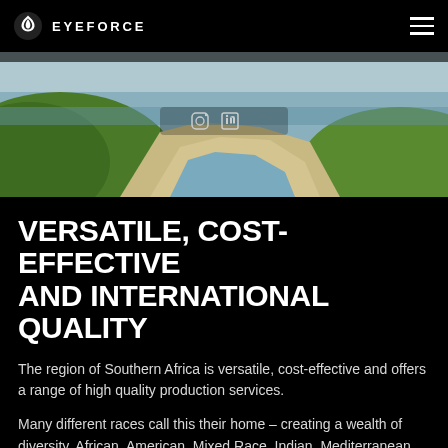EYEFORCE
[Figure (photo): Aerial/landscape photo of Southern Africa coastal region showing green hills, a sandy river mouth or estuary, and ocean in the background.]
VERSATILE, COST-EFFECTIVE AND INTERNATIONAL QUALITY
The region of Southern Africa is versatile, cost-effective and offers a range of high quality production services.
Many different races call this their home – creating a wealth of diversity. African, American, Mixed Race, Indian, Mediterranean, Caucasian, European and Asian races can